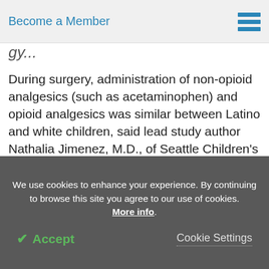Become a Member
gy...
During surgery, administration of non-opioid analgesics (such as acetaminophen) and opioid analgesics was similar between Latino and white children, said lead study author Nathalia Jimenez, M.D., of Seattle Children's Hospital. However, the significant difference after surgery suggests that pain treatment in children has some correlation with the patient's ethnicity, according to the authors.
We use cookies to enhance your experience. By continuing to browse this site you agree to our use of cookies. More info.
✔ Accept
Cookie Settings